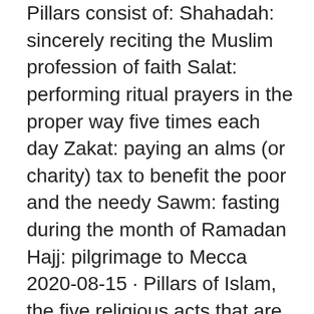Pillars consist of: Shahadah: sincerely reciting the Muslim profession of faith Salat: performing ritual prayers in the proper way five times each day Zakat: paying an alms (or charity) tax to benefit the poor and the needy Sawm: fasting during the month of Ramadan Hajj: pilgrimage to Mecca 2020-08-15 · Pillars of Islam, the five religious acts that are considered obligatory for all Muslims: shahadah, the Muslim profession of faith; salat, daily prayer; zakat, the paying of alms to benefit the poor and needy; sawm, fasting during the month of Ramadan; and hajj, the pilgrimage to Mecca. 2008-12-12 · The Five Pillars of Islam are core beliefs that shape Muslim thought, deed, and society. A Muslim who fulfills the Five Pillars of Islam remains in the faith of Islam, and sincerely repents of his sins will make it to Jannah (paradise). The Five Pillars of Islam (Sunni